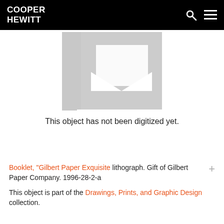COOPER HEWITT
[Figure (illustration): Placeholder image for a museum object that has not been digitized — a pixelated/stepped gray image-not-available icon]
This object has not been digitized yet.
Booklet, "Gilbert Paper Exquisite lithograph. Gift of Gilbert Paper Company. 1996-28-2-a
This object is part of the Drawings, Prints, and Graphic Design collection.